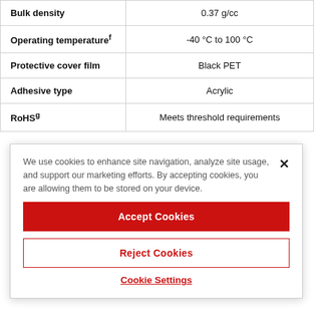| Property | Value |
| --- | --- |
| Bulk density | 0.37 g/cc |
| Operating temperatureᶠ | -40 °C to 100 °C |
| Protective cover film | Black PET |
| Adhesive type | Acrylic |
| RoHSᵍ | Meets threshold requirements |
We use cookies to enhance site navigation, analyze site usage, and support our marketing efforts. By accepting cookies, you are allowing them to be stored on your device.
Accept Cookies
Reject Cookies
Cookie Settings